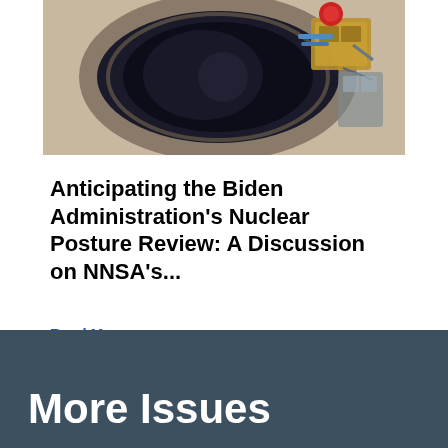[Figure (photo): Close-up top-down view of a missile or nuclear warhead reentry vehicle interior, showing circular metallic housing with cables and red component visible]
Anticipating the Biden Administration's Nuclear Posture Review: A Discussion on NNSA's...
Read More ›
‹ Previous Page   Next Page ›
More Issues